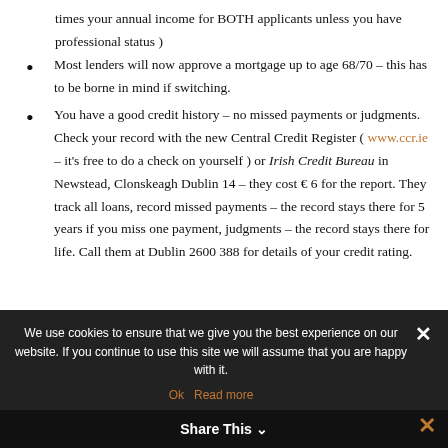times your annual income for BOTH applicants unless you have professional status )
Most lenders will now approve a mortgage up to age 68/70 – this has to be borne in mind if switching.
You have a good credit history – no missed payments or judgments. Check your record with the new Central Credit Register ( www.ccr.ie – it's free to do a check on yourself ) or Irish Credit Bureau in Newstead, Clonskeagh Dublin 14 – they cost € 6 for the report. They track all loans, record missed payments – the record stays there for 5 years if you miss one payment, judgments – the record stays there for life. Call them at Dublin 2600 388 for details of your credit rating.
We use cookies to ensure that we give you the best experience on our website. If you continue to use this site we will assume that you are happy with it.
Ok   Read more
Share This